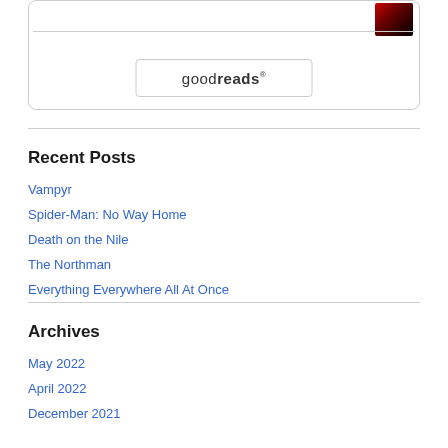[Figure (screenshot): Goodreads widget with book thumbnail and goodreads button]
Recent Posts
Vampyr
Spider-Man: No Way Home
Death on the Nile
The Northman
Everything Everywhere All At Once
Archives
May 2022
April 2022
December 2021